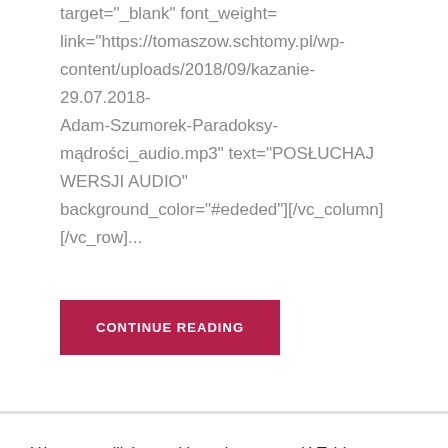target="_blank" font_weight=
link="https://tomaszow.schtomy.pl/wp-content/uploads/2018/09/kazanie-29.07.2018-Adam-Szumorek-Paradoksy-mądrości_audio.mp3" text="POSŁUCHAJ WERSJI AUDIO"
background_color="#ededed"][/vc_column][/vc_row]...
CONTINUE READING
Używamy plików cookies, aby zapewnić Tobie najlepszą jakość na naszej stronie. Klikając przycisk 'akceptuj' zgadasz się z wszystkimi ustawieniami cookies.
Ustawienia
Dowiedz się więcej
AKCPETUJ